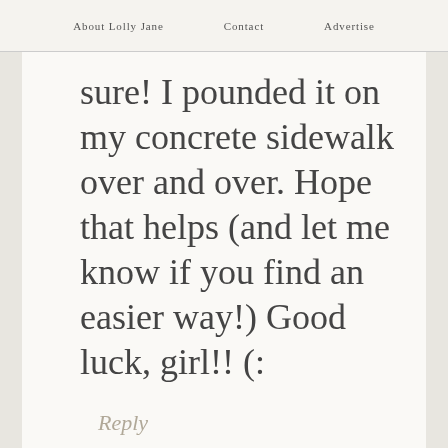About Lolly Jane   Contact   Advertise
sure! I pounded it on my concrete sidewalk over and over. Hope that helps (and let me know if you find an easier way!) Good luck, girl!! (:
Reply